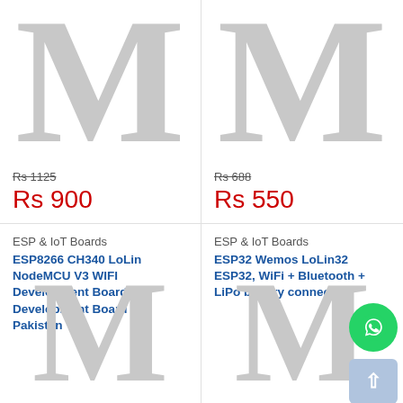[Figure (logo): Large grey M watermark letter - product image placeholder, top-left]
Rs 1125 (strikethrough)
Rs 900
[Figure (logo): Large grey M watermark letter - product image placeholder, top-right]
Rs 688 (strikethrough)
Rs 550
ESP & IoT Boards
ESP8266 CH340 LoLin NodeMCU V3 WIFI Development Board IoT Development Board In Pakistan
[Figure (logo): Large grey M watermark letter - product image placeholder, bottom-left]
ESP & IoT Boards
ESP32 Wemos LoLin32 ESP32, WiFi + Bluetooth + LiPo battery connector
[Figure (logo): Large grey M watermark letter - product image placeholder, bottom-right]